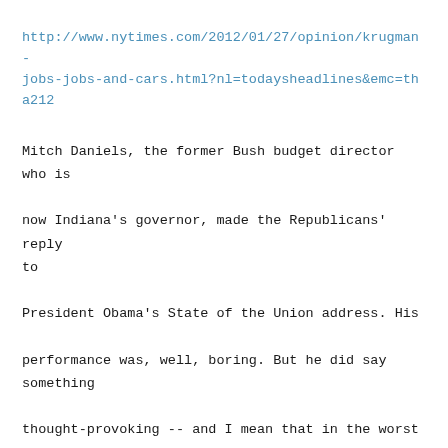http://www.nytimes.com/2012/01/27/opinion/krugman-jobs-jobs-and-cars.html?nl=todaysheadlines&emc=tha212
Mitch Daniels, the former Bush budget director who is now Indiana's governor, made the Republicans' reply to President Obama's State of the Union address. His performance was, well, boring. But he did say something thought-provoking -- and I mean that in the worst way.
For Mr. Daniels tried to wrap his party in the mantle